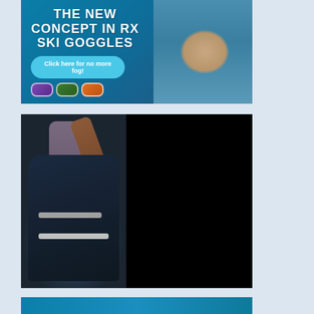[Figure (photo): Advertisement banner for RX ski goggles on a teal/blue background. Left side shows text 'THE NEW CONCEPT IN RX SKI GOGGLES' with a teal button 'Click here for no more fog!' and colorful goggle icons below. Right side shows a photo of a smiling skier wearing blue ski goggles and a grey/blue jacket.]
[Figure (photo): Two side-by-side images. Left: close-up photo of dark blue ski boots being put on, showing buckles and a person's legs above. Right: a black rectangle (video player or redacted/blank content).]
[Figure (photo): Partial view of another advertisement or image at the bottom, teal/blue colored, partially cut off.]